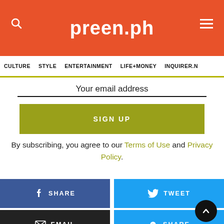preen.ph
CULTURE | STYLE | ENTERTAINMENT | LIFE+MONEY | INQUIRER.N
Your email address
SIGN UP
By subscribing, you agree to our Terms of Use and Privacy Policy.
f SHARE
TWEET
EMAIL
SHARE